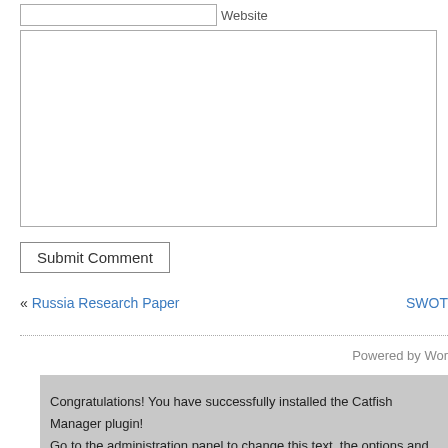Website
Submit Comment
« Russia Research Paper
SWOT
Powered by Wor
Congratulations! You have successfully installed the Catfish Manager plugin!
Go to the administration panel to change this text, the options and to set custom CS